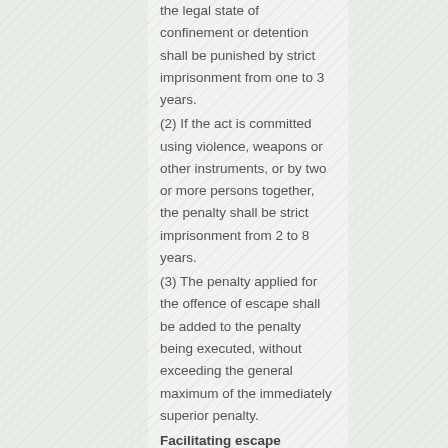the legal state of confinement or detention shall be punished by strict imprisonment from one to 3 years.
(2) If the act is committed using violence, weapons or other instruments, or by two or more persons together, the penalty shall be strict imprisonment from 2 to 8 years.
(3) The penalty applied for the offence of escape shall be added to the penalty being executed, without exceeding the general maximum of the immediately superior penalty.
Facilitating escape